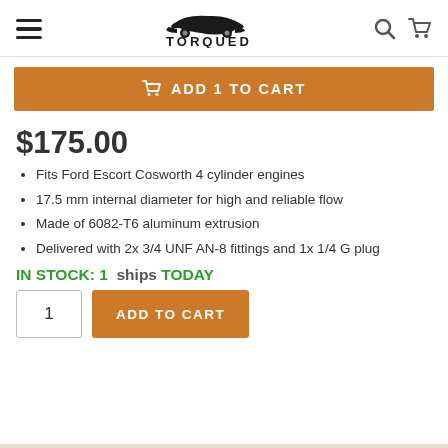TORQUED — navigation header with hamburger menu, logo, search and cart icons
ADD 1 TO CART
$175.00
Fits Ford Escort Cosworth 4 cylinder engines
17.5 mm internal diameter for high and reliable flow
Made of 6082-T6 aluminum extrusion
Delivered with 2x 3/4 UNF AN-8 fittings and 1x 1/4 G plug
IN STOCK: 1  ships TODAY
ADD TO CART